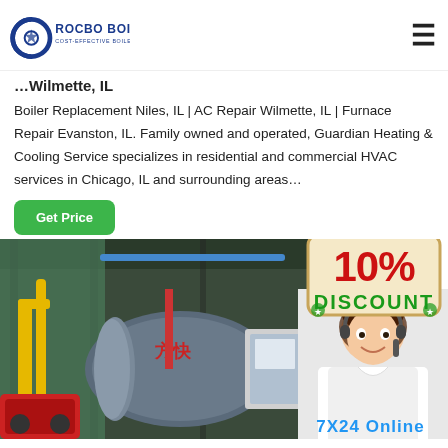ROCBO BOILER — COST-EFFECTIVE BOILER SUPPLIER
…Wilmette, IL
Boiler Replacement Niles, IL | AC Repair Wilmette, IL | Furnace Repair Evanston, IL. Family owned and operated, Guardian Heating & Cooling Service specializes in residential and commercial HVAC services in Chicago, IL and surrounding areas…
[Figure (other): Get Price green button]
[Figure (other): 10% Discount hanging sign badge]
[Figure (photo): Industrial boiler facility with large cylindrical boilers, yellow pipes, red machinery, Chinese characters on boiler]
[Figure (photo): Customer service representative woman with headset smiling, 7X24 Online text at bottom]